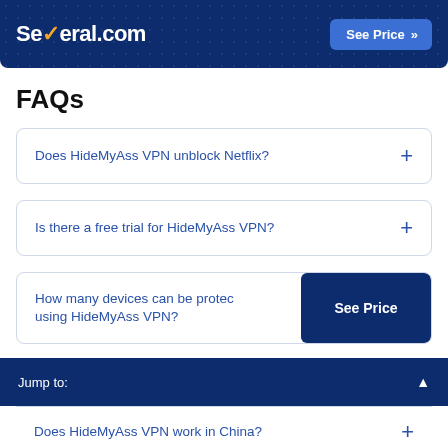Several.com — See Price »
FAQs
Does HideMyAss VPN unblock Netflix?
Is there a free trial for HideMyAss VPN?
How many devices can be protected using HideMyAss VPN?
Does HideMyAss VPN work in China?